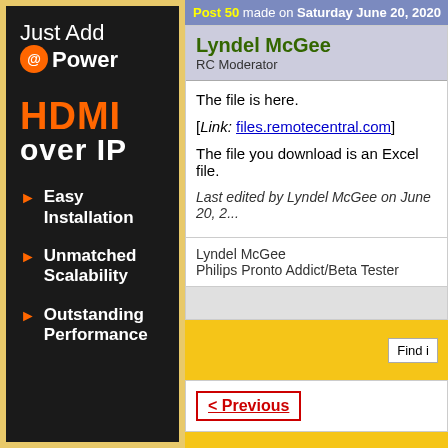[Figure (illustration): Just Add Power HDMI over IP advertisement banner with orange HDMI text, bullet points: Easy Installation, Unmatched Scalability, Outstanding Performance]
Post 50 made on Saturday June 20, 2020
Lyndel McGee
RC Moderator
The file is here.
[Link: files.remotecentral.com]
The file you download is an Excel file.
Last edited by Lyndel McGee on June 20, 2...
Lyndel McGee
Philips Pronto Addict/Beta Tester
Find
< Previous